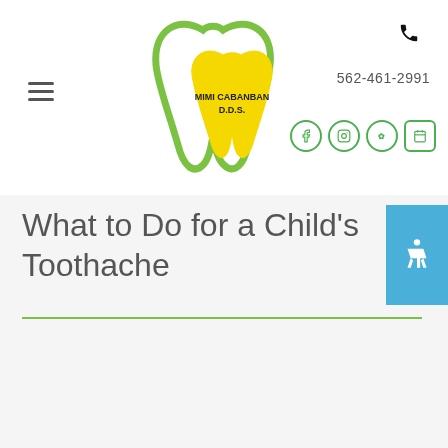[Figure (logo): Mimi Cabanban D.D.S. dental practice logo with green and yellow tooth shapes]
562-461-2991
What to Do for a Child's Toothache